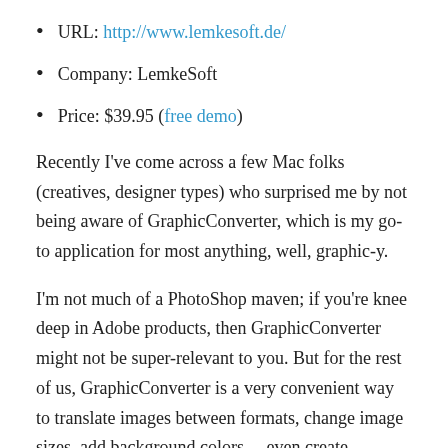URL: http://www.lemkesoft.de/
Company: LemkeSoft
Price: $39.95 (free demo)
Recently I've come across a few Mac folks (creatives, designer types) who surprised me by not being aware of GraphicConverter, which is my go-to application for most anything, well, graphic-y.
I'm not much of a PhotoShop maven; if you're knee deep in Adobe products, then GraphicConverter might not be super-relevant to you. But for the rest of us, GraphicConverter is a very convenient way to translate images between formats, change image sizes, add background colors… even create illustrations, Web ads